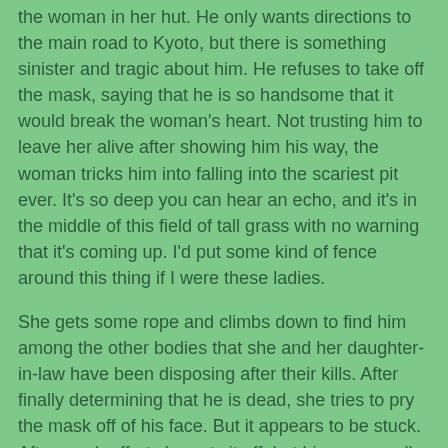the woman in her hut. He only wants directions to the main road to Kyoto, but there is something sinister and tragic about him. He refuses to take off the mask, saying that he is so handsome that it would break the woman's heart. Not trusting him to leave her alive after showing him his way, the woman tricks him into falling into the scariest pit ever. It's so deep you can hear an echo, and it's in the middle of this field of tall grass with no warning that it's coming up. I'd put some kind of fence around this thing if I were these ladies.
She gets some rope and climbs down to find him among the other bodies that she and her daughter-in-law have been disposing after their kills. After finally determining that he is dead, she tries to pry the mask off of his face. But it appears to be stuck. After much effort she gets it off, but his supposedly handsome face has been terribly scarred. He is hideous. But the mask gives the woman an idea. This is where the fable I mentioned comes in.
She begins to wear the mask and some odd kabuki outfit to scare the young widow each night as she runs to her slob of a lover. And it works. Until one rainy night when the young...